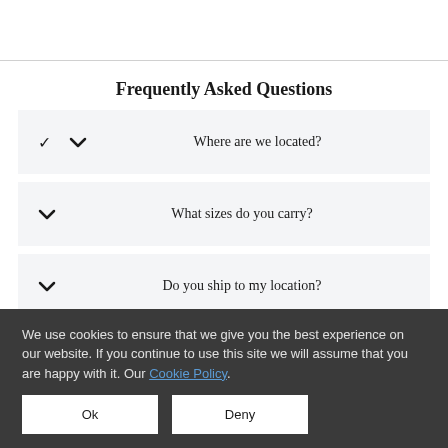Frequently Asked Questions
Where are we located?
What sizes do you carry?
Do you ship to my location?
We use cookies to ensure that we give you the best experience on our website. If you continue to use this site we will assume that you are happy with it. Our Cookie Policy.